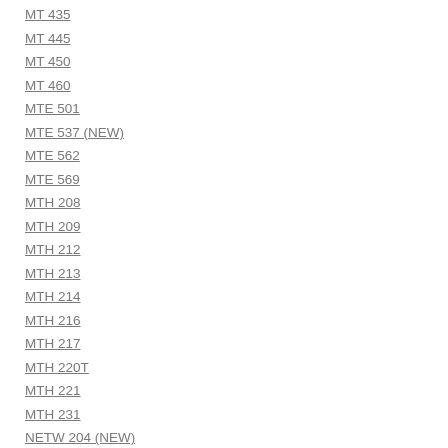MT 435
MT 445
MT 450
MT 460
MTE 501
MTE 537 (NEW)
MTE 562
MTE 569
MTH 208
MTH 209
MTH 212
MTH 213
MTH 214
MTH 216
MTH 217
MTH 220T
MTH 221
MTH 231
NETW 204 (NEW)